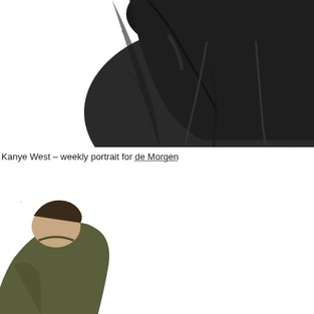[Figure (illustration): Illustration of a person wearing a dark hoodie, cropped to show torso and neck area with hoodie drawstrings visible. Comic/editorial art style with heavy shading.]
Kanye West – weekly portrait for de Morgen
[Figure (illustration): Two partially visible illustrated portraits in comic/editorial style: lower left shows a figure in an olive/green jacket cropped at the bottom; lower right shows a man with dark hair and reddish/pink face, cropped at the bottom of the page.]